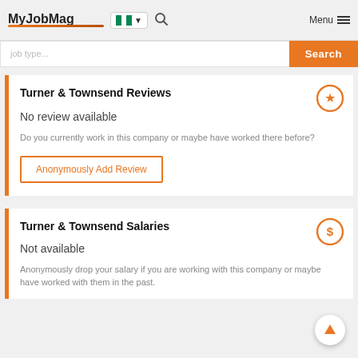MyJobMag
Turner & Townsend Reviews
No review available
Do you currently work in this company or maybe have worked there before?
Anonymously Add Review
Turner & Townsend Salaries
Not available
Anonymously drop your salary if you are working with this company or maybe have worked with them in the past.